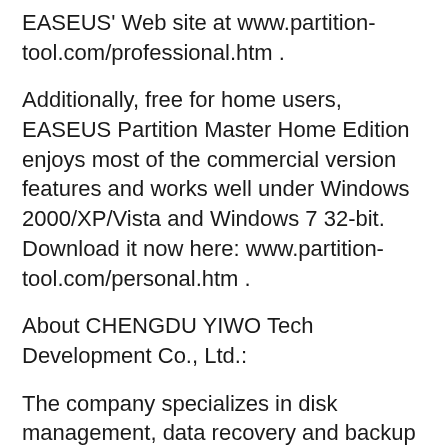EASEUS' Web site at www.partition-tool.com/professional.htm .
Additionally, free for home users, EASEUS Partition Master Home Edition enjoys most of the commercial version features and works well under Windows 2000/XP/Vista and Windows 7 32-bit. Download it now here: www.partition-tool.com/personal.htm .
About CHENGDU YIWO Tech Development Co., Ltd.:
The company specializes in disk management, data recovery and backup software for Windows OS. Its other major products are Data Recovery Wizard, Partition Table Doctor and Todo Backup. For more information, visit